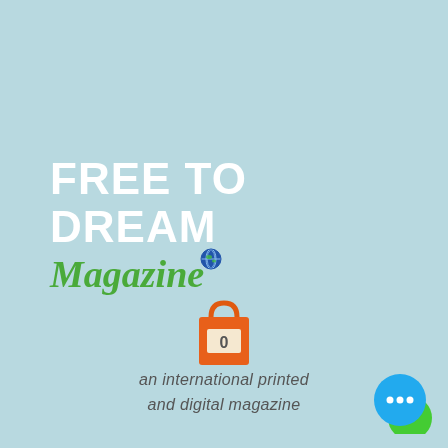FREE TO DREAM Magazine
[Figure (illustration): Orange shopping bag icon with a '0' label on the front]
an international printed and digital magazine
[Figure (illustration): Blue circle chat bubble icon with three white dots, overlapping a green circle at bottom right corner]